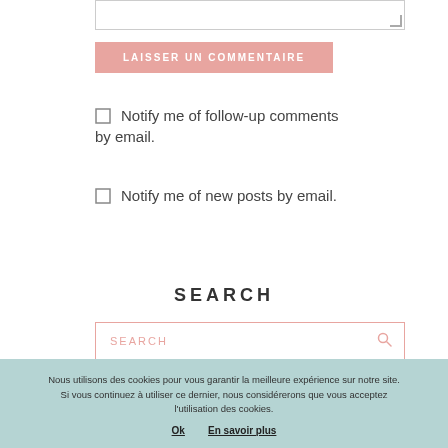[Figure (screenshot): Partial textarea input field with resize handle at bottom-right corner]
LAISSER UN COMMENTAIRE
Notify me of follow-up comments by email.
Notify me of new posts by email.
SEARCH
[Figure (screenshot): Search input box with pink border, placeholder text SEARCH and a magnifier icon on the right]
Nous utilisons des cookies pour vous garantir la meilleure expérience sur notre site. Si vous continuez à utiliser ce dernier, nous considérerons que vous acceptez l'utilisation des cookies.
Ok   En savoir plus